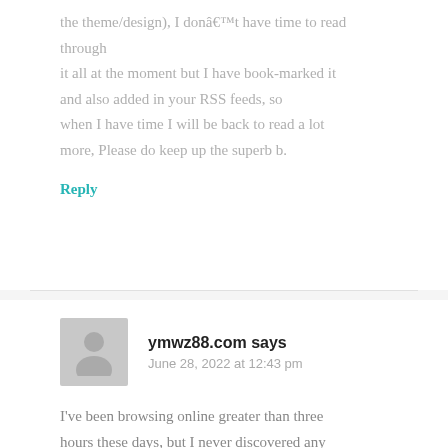the theme/design), I donâ€™t have time to read through it all at the moment but I have book-marked it and also added in your RSS feeds, so when I have time I will be back to read a lot more, Please do keep up the superb b.
Reply
ymwz88.com says
June 28, 2022 at 12:43 pm
I've been browsing online greater than three hours these days, but I never discovered any attention-grabbing article like yours.